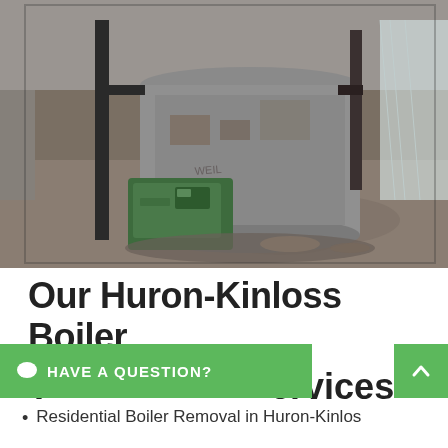[Figure (photo): Photograph of an old boiler in a basement. A large cylindrical grey/concrete boiler unit is in the center, with black pipes attached. A small green boiler unit sits at the base. The floor is bare concrete. Plastic sheeting is visible on the right side. The walls are rough concrete.]
Our Huron-Kinloss Boiler T... ervices
HAVE A QUESTION?
Residential Boiler Removal in Huron-Kinloss